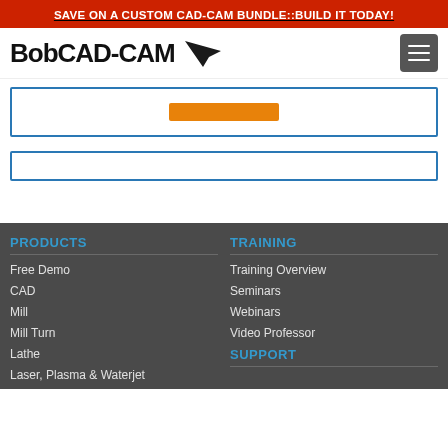SAVE ON A CUSTOM CAD-CAM BUNDLE::BUILD IT TODAY!
[Figure (logo): BobCAD-CAM logo with text and stylized bird/arrow icon]
[Figure (screenshot): Input form box with orange button element, bordered in blue]
[Figure (screenshot): Empty input box bordered in blue]
PRODUCTS
Free Demo
CAD
Mill
Mill Turn
Lathe
Laser, Plasma & Waterjet
TRAINING
Training Overview
Seminars
Webinars
Video Professor
SUPPORT